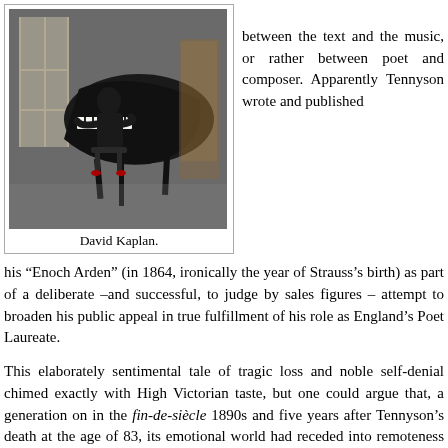[Figure (photo): A person seated at a grand piano, playing, in a room with large windows and warm lighting.]
David Kaplan.
between the text and the music, or rather between poet and composer. Apparently Tennyson wrote and published his “Enoch Arden” (in 1864, ironically the year of Strauss’s birth) as part of a deliberate –and successful, to judge by sales figures – attempt to broaden his public appeal in true fulfillment of his role as England’s Poet Laureate.
This elaborately sentimental tale of tragic loss and noble self-denial chimed exactly with High Victorian taste, but one could argue that, a generation on in the fin-de-siècle 1890s and five years after Tennyson’s death at the age of 83, its emotional world had receded into remoteness from the most up-to-date sensibilities, as exemplified musically by the style – by turns maliciously witty, grandiose, and even savage – of the foremost young lion (still only 33) of Late Romanticism. One can imagine a more appropriate match with, say, the